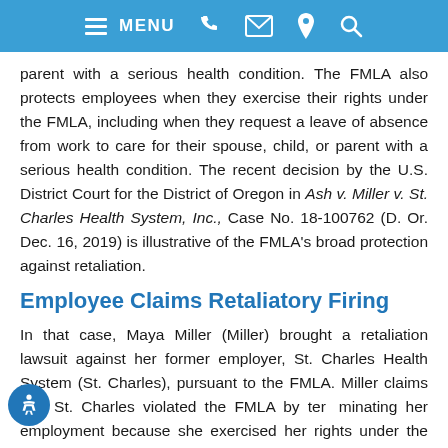MENU [phone] [email] [location] [search]
parent with a serious health condition. The FMLA also protects employees when they exercise their rights under the FMLA, including when they request a leave of absence from work to care for their spouse, child, or parent with a serious health condition. The recent decision by the U.S. District Court for the District of Oregon in Ash v. Miller v. St. Charles Health System, Inc., Case No. 18-100762 (D. Or. Dec. 16, 2019) is illustrative of the FMLA's broad protection against retaliation.
Employee Claims Retaliatory Firing
In that case, Maya Miller (Miller) brought a retaliation lawsuit against her former employer, St. Charles Health System (St. Charles), pursuant to the FMLA. Miller claims that St. Charles violated the FMLA by terminating her employment because she exercised her rights under the FMLA.